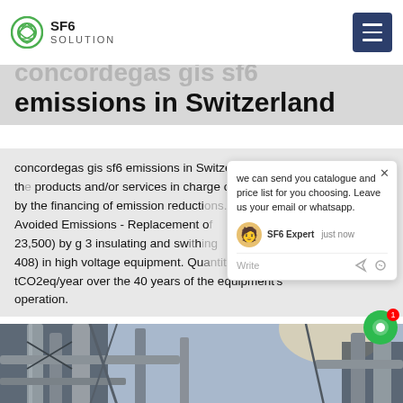SF6 SOLUTION
emissions in Switzerland
concordegas gis sf6 emissions in SwitzerlandEmissions avoided by the products and/or services in charge of or by the financing of emission reductions. Avoided Emissions - Replacement of 23,500) by g 3 insulating and switching (P 408) in high voltage equipment. Quantity: 25 tCO2eq/year over the 40 years of the equipment's operation.
[Figure (photo): Industrial facility with pipes, scaffolding and steel structures photographed from below against bright sky]
[Figure (other): Chat popup overlay showing message about sending catalogue and price list, with SF6 Expert agent avatar, write field, and action icons]